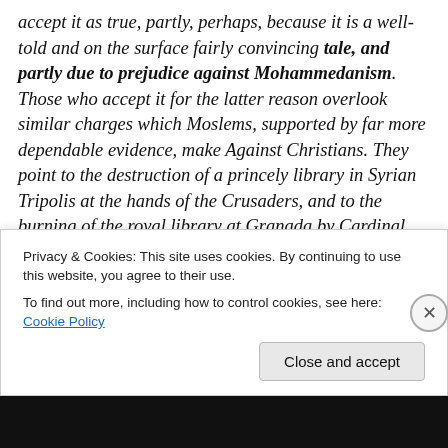accept it as true, partly, perhaps, because it is a well-told and on the surface fairly convincing tale, and partly due to prejudice against Mohammedanism. Those who accept it for the latter reason overlook similar charges which Moslems, supported by far more dependable evidence, make Against Christians. They point to the destruction of a princely library in Syrian Tripolis at the hands of the Crusaders, and to the burning of the royal library at Granada by Cardinal Ximenez in 1492. In the minds of many non-Arabists the annihilation of the Alexandrian library is the only connection of Arabs with
Privacy & Cookies: This site uses cookies. By continuing to use this website, you agree to their use.
To find out more, including how to control cookies, see here: Cookie Policy
Close and accept